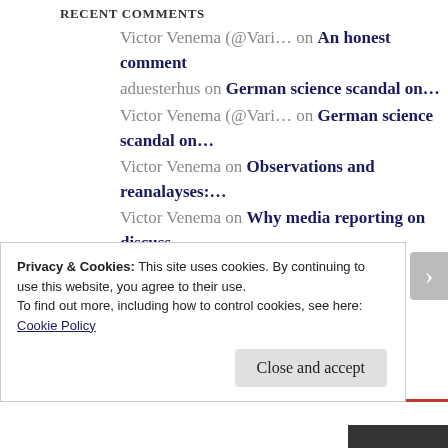RECENT COMMENTS
Victor Venema (@Vari… on An honest comment
aduesterhus on German science scandal on…
Victor Venema (@Vari… on German science scandal on…
Victor Venema on Observations and reanalayses:…
Victor Venema on Why media reporting on discuss…
Privacy & Cookies: This site uses cookies. By continuing to use this website, you agree to their use.
To find out more, including how to control cookies, see here: Cookie Policy